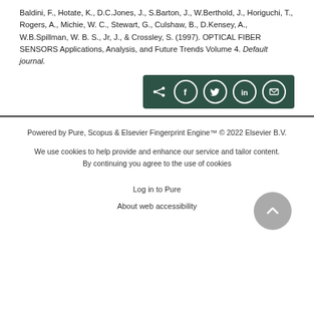Baldini, F., Hotate, K., D.C.Jones, J., S.Barton, J., W.Berthold, J., Horiguchi, T., Rogers, A., Michie, W. C., Stewart, G., Culshaw, B., D.Kensey, A., W.B.Spillman, W. B. S., Jr, J., & Crossley, S. (1997). OPTICAL FIBER SENSORS Applications, Analysis, and Future Trends Volume 4. Default journal.
[Figure (other): Social share bar with dark green background containing share icons: general share arrow, Facebook, Twitter, LinkedIn, Email]
Powered by Pure, Scopus & Elsevier Fingerprint Engine™ © 2022 Elsevier B.V.

We use cookies to help provide and enhance our service and tailor content. By continuing you agree to the use of cookies

Log in to Pure

About web accessibility